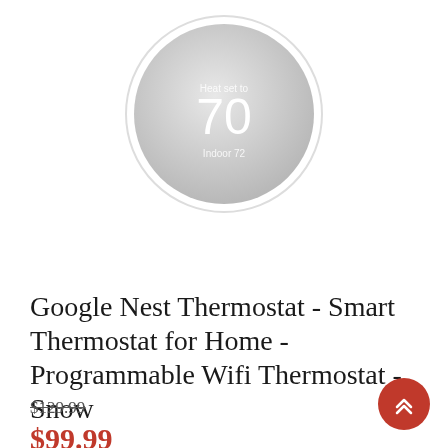[Figure (photo): Google Nest Thermostat circular device showing 'Heat set to 70' and 'Indoor 72' on a light gray circular dial with white border]
Google Nest Thermostat - Smart Thermostat for Home - Programmable Wifi Thermostat - Snow
$129.99
$99.99